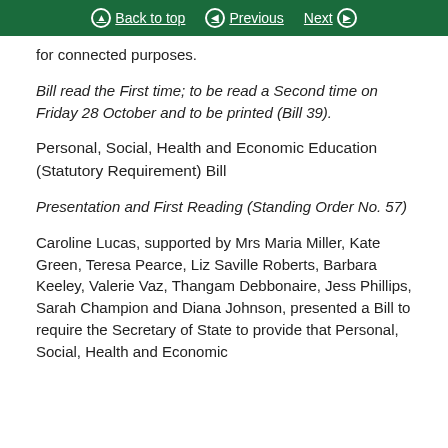Back to top | Previous | Next
for connected purposes.
Bill read the First time; to be read a Second time on Friday 28 October and to be printed (Bill 39).
Personal, Social, Health and Economic Education (Statutory Requirement) Bill
Presentation and First Reading (Standing Order No. 57)
Caroline Lucas, supported by Mrs Maria Miller, Kate Green, Teresa Pearce, Liz Saville Roberts, Barbara Keeley, Valerie Vaz, Thangam Debbonaire, Jess Phillips, Sarah Champion and Diana Johnson, presented a Bill to require the Secretary of State to provide that Personal, Social, Health and Economic